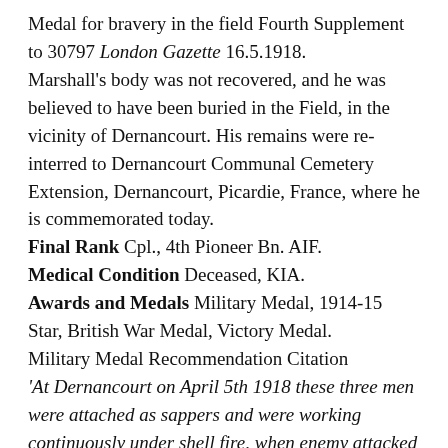Medal for bravery in the field Fourth Supplement to 30797 London Gazette 16.5.1918.
Marshall's body was not recovered, and he was believed to have been buried in the Field, in the vicinity of Dernancourt. His remains were re-interred to Dernancourt Communal Cemetery Extension, Dernancourt, Picardie, France, where he is commemorated today.
Final Rank Cpl., 4th Pioneer Bn. AIF.
Medical Condition Deceased, KIA.
Awards and Medals Military Medal, 1914-15 Star, British War Medal, Victory Medal.
Military Medal Recommendation Citation
'At Dernancourt on April 5th 1918 these three men were attached as sappers and were working continuously under shell fire, when enemy attacked in force they took rifles